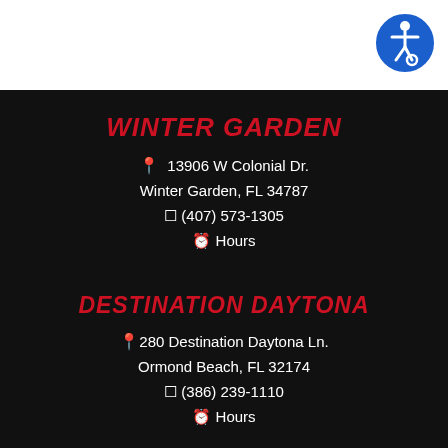[Figure (logo): Accessibility icon button — blue circle with white wheelchair/person symbol, top-right corner]
WINTER GARDEN
📍 13906 W Colonial Dr.
Winter Garden, FL 34787
📱 (407) 573-1305
🕐 Hours
DESTINATION DAYTONA
📍 280 Destination Daytona Ln.
Ormond Beach, FL 32174
📱 (386) 239-1110
🕐 Hours
PALM BAY